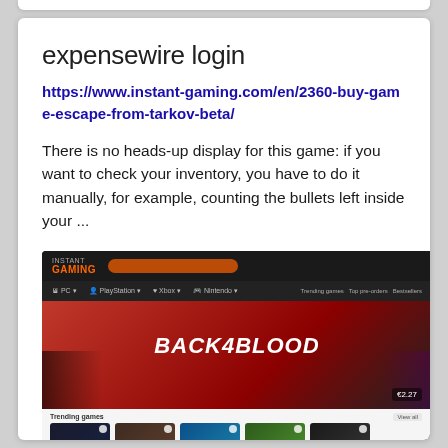expensewire login
https://www.instant-gaming.com/en/2360-buy-game-escape-from-tarkov-beta/
There is no heads-up display for this game: if you want to check your inventory, you have to do it manually, for example, counting the bullets left inside your ...
[Figure (screenshot): Screenshot of instant-gaming.com website showing Back 4 Blood game promotional banner with trending games section below including Hour of the Witch, Potion Craft, Tribes, Farming Simulator, and Dead by Daylight]